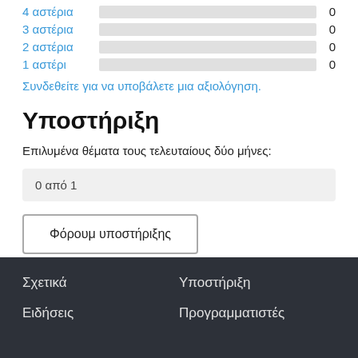[Figure (bar-chart): Ratings distribution (partial)]
Συνδεθείτε για να υποβάλετε μια αξιολόγηση.
Υποστήριξη
Επιλυμένα θέματα τους τελευταίους δύο μήνες:
0 από 1
Φόρουμ υποστήριξης
Σχετικά  Υποστήριξη  Ειδήσεις  Προγραμματιστές